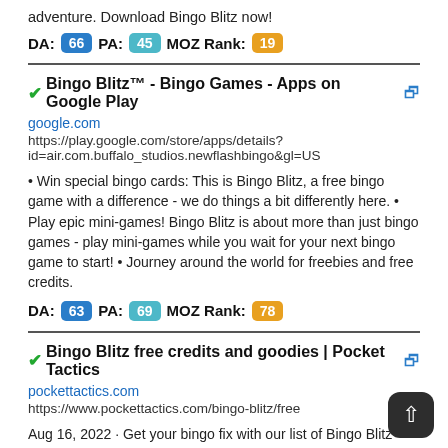adventure. Download Bingo Blitz now!
DA: 66  PA: 45  MOZ Rank: 19
✔Bingo Blitz™ - Bingo Games - Apps on Google Play 🔗
google.com
https://play.google.com/store/apps/details?id=air.com.buffalo_studios.newflashbingo&gl=US
• Win special bingo cards: This is Bingo Blitz, a free bingo game with a difference - we do things a bit differently here. • Play epic mini-games! Bingo Blitz is about more than just bingo games - play mini-games while you wait for your next bingo game to start! • Journey around the world for freebies and free credits.
DA: 63  PA: 69  MOZ Rank: 78
✔Bingo Blitz free credits and goodies | Pocket Tactics 🔗
pockettactics.com
https://www.pockettactics.com/bingo-blitz/free
Aug 16, 2022 · Get your bingo fix with our list of Bingo Blitz free rewards, including daily links for free Bingo Blitz credits